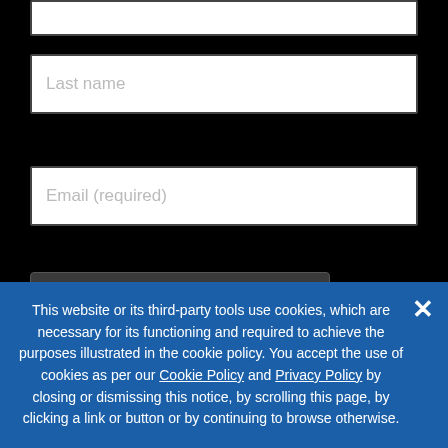[Figure (screenshot): Last name input field (white rectangle with gray placeholder text)]
[Figure (screenshot): Email (required) input field (white rectangle with gray placeholder text)]
[Figure (screenshot): reCAPTCHA widget with checkbox 'I'm not a robot' and reCAPTCHA logo on dark background]
I agree to the Atlantic Council's privacy policy. (Required)
This website or its third-party tools use cookies, which are necessary for its functioning and required to achieve the purposes illustrated in the cookie policy. You accept the use of cookies as per our Cookie Policy and Privacy Policy by closing or dismissing this notice, by scrolling this page, by clicking a link or button or by continuing to browse otherwise.